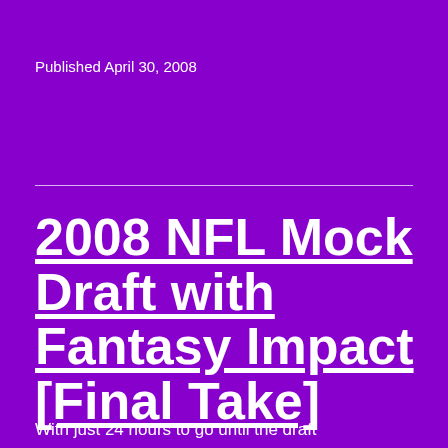Published April 30, 2008
2008 NFL Mock Draft with Fantasy Impact [Final Take]
With just 24 hours to go until the draft